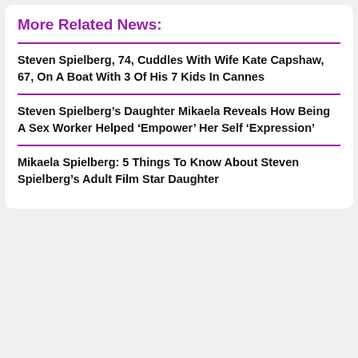More Related News:
Steven Spielberg, 74, Cuddles With Wife Kate Capshaw, 67, On A Boat With 3 Of His 7 Kids In Cannes
Steven Spielberg’s Daughter Mikaela Reveals How Being A Sex Worker Helped ‘Empower’ Her Self ‘Expression’
Mikaela Spielberg: 5 Things To Know About Steven Spielberg’s Adult Film Star Daughter